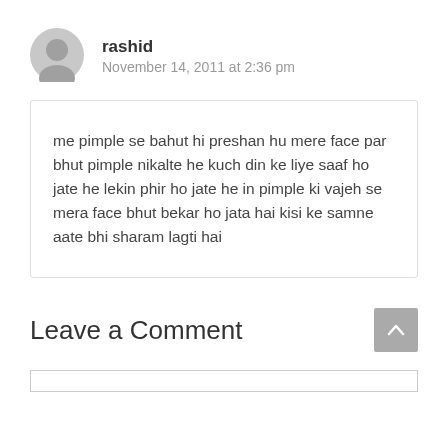rashid
November 14, 2011 at 2:36 pm
me pimple se bahut hi preshan hu mere face par bhut pimple nikalte he kuch din ke liye saaf ho jate he lekin phir ho jate he in pimple ki vajeh se mera face bhut bekar ho jata hai kisi ke samne aate bhi sharam lagti hai
Leave a Comment